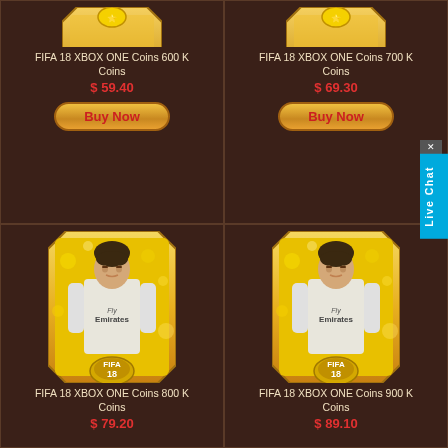[Figure (screenshot): FIFA 18 Ultimate Team gold card product image for 600K Coins - top left (partially visible)]
FIFA 18 XBOX ONE Coins 600 K Coins
$ 59.40
[Figure (illustration): Buy Now button - golden rounded rectangle]
[Figure (screenshot): FIFA 18 Ultimate Team gold card product image for 700K Coins - top right (partially visible)]
FIFA 18 XBOX ONE Coins 700 K Coins
$ 69.30
[Figure (illustration): Buy Now button - golden rounded rectangle]
[Figure (illustration): FIFA 18 Ultimate Team gold card with Cristiano Ronaldo in Real Madrid Fly Emirates kit, FIFA 18 badge, gold card design - 800K]
FIFA 18 XBOX ONE Coins 800 K Coins
$ 79.20
[Figure (illustration): FIFA 18 Ultimate Team gold card with Cristiano Ronaldo in Real Madrid Fly Emirates kit, FIFA 18 badge, gold card design - 900K]
FIFA 18 XBOX ONE Coins 900 K Coins
$ 89.10